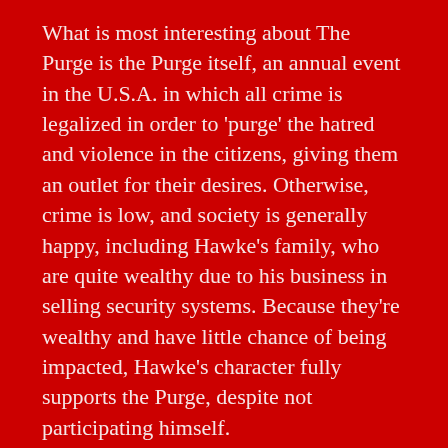What is most interesting about The Purge is the Purge itself, an annual event in the U.S.A. in which all crime is legalized in order to 'purge' the hatred and violence in the citizens, giving them an outlet for their desires. Otherwise, crime is low, and society is generally happy, including Hawke's family, who are quite wealthy due to his business in selling security systems. Because they're wealthy and have little chance of being impacted, Hawke's character fully supports the Purge, despite not participating himself.
It's a very barbaric idea wrapped up in psychology and good policy. The rich going around and killing the poor (physically, as opposed to how they do it in